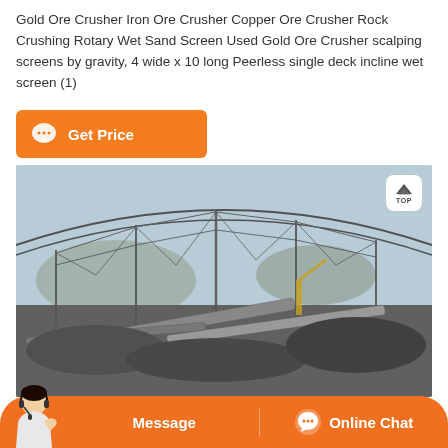Gold Ore Crusher Iron Ore Crusher Copper Ore Crusher Rock Crushing Rotary Wet Sand Screen Used Gold Ore Crusher scalping screens by gravity, 4 wide x 10 long Peerless single deck incline wet screen (1)
[Figure (other): Orange 'Get Price' button with chat bubble icon]
[Figure (photo): Industrial mining/crushing facility with large steel truss roof structure, conveyor belts, and aggregate material on the ground]
[Figure (other): Bottom navigation bar with orange background showing 'Message' and 'Online Chat' buttons, with customer service agent image on left]